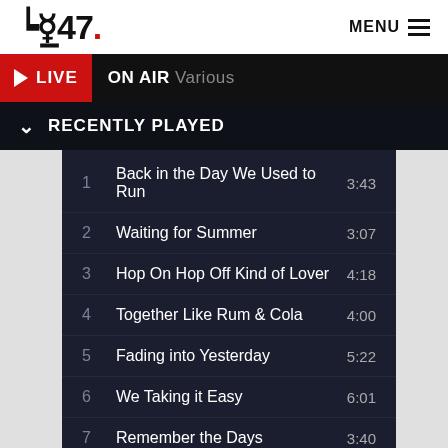947 | MENU
LIVE | ON AIR Various
RECENTLY PLAYED
| # | Title | Duration |
| --- | --- | --- |
| 1 | Back in the Day We Used to Run | 3:43 |
| 2 | Waiting for Summer | 3:07 |
| 3 | Hop On Hop Off Kind of Lover | 4:18 |
| 4 | Together Like Rum & Cola | 4:00 |
| 5 | Fading into Yesterday | 5:22 |
| 6 | We Taking it Easy | 6:01 |
| 7 | Remember the Days | 3:40 |
| 8 | Just Be Yourself | 4:54 |